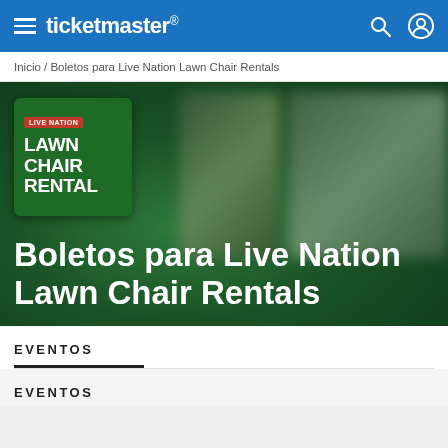ticketmaster®
Inicio / Boletos para Live Nation Lawn Chair Rentals
[Figure (illustration): Live Nation Lawn Chair Rental event image card with green background and blurred hero image]
Boletos para Live Nation Lawn Chair Rentals
EVENTOS
EVENTOS